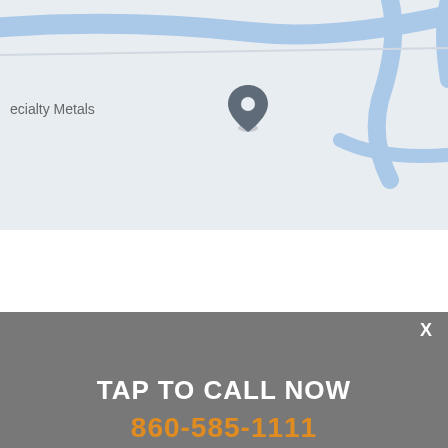[Figure (map): Google Maps style map snippet showing roads/waterways and a location pin near 'specialty Metals' label]
VEHICLE TIPS
X
TAP TO CALL NOW
860-585-1111
According to research, vehicle fatalities are clearly due to maintenance neglect.